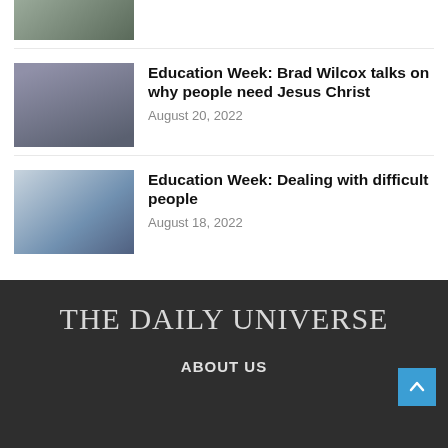[Figure (photo): Partial view of a speaker at a podium, cropped at top]
[Figure (photo): Two people on stage, one holding a microphone]
Education Week: Brad Wilcox talks on why people need Jesus Christ
August 20, 2022
[Figure (photo): Presentation slide showing text about difficult people with an illustration]
Education Week: Dealing with difficult people
August 18, 2022
THE DAILY UNIVERSE
ABOUT US